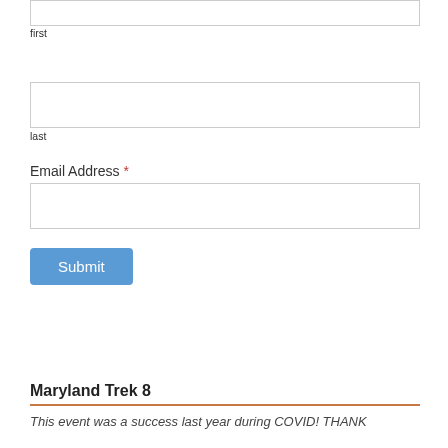[Figure (screenshot): Form input field for 'first' name, an empty text input box]
first
[Figure (screenshot): Form input field for 'last' name, an empty text input box]
last
Email Address *
[Figure (screenshot): Form input field for email address, an empty text input box]
[Figure (screenshot): Submit button colored blue with white text]
Maryland Trek 8
This event was a success last year during COVID!  THANK